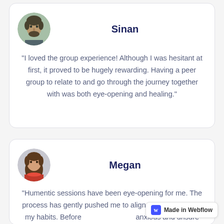[Figure (photo): Circular avatar photo of Sinan, a young man with dark curly hair and beard, outdoor background]
Sinan
"I loved the group experience! Although I was hesitant at first, it proved to be hugely rewarding. Having a peer group to relate to and go through the journey together with was both eye-opening and healing."
[Figure (photo): Circular avatar photo of Megan, a young woman with long brown hair, wearing a red scarf]
Megan
"Humentic sessions have been eye-opening for me. The process has gently pushed me to align my inner life with my habits. Before anxious and unsure about my future. Even after a